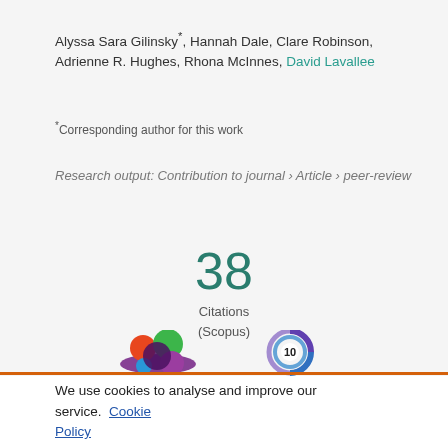Alyssa Sara Gilinsky*, Hannah Dale, Clare Robinson, Adrienne R. Hughes, Rhona McInnes, David Lavallee
*Corresponding author for this work
Research output: Contribution to journal › Article › peer-review
38 Citations (Scopus)
[Figure (logo): Altmetric logo (colorful circles resembling a flower) and Dimensions badge showing score 10]
We use cookies to analyse and improve our service. Cookie Policy